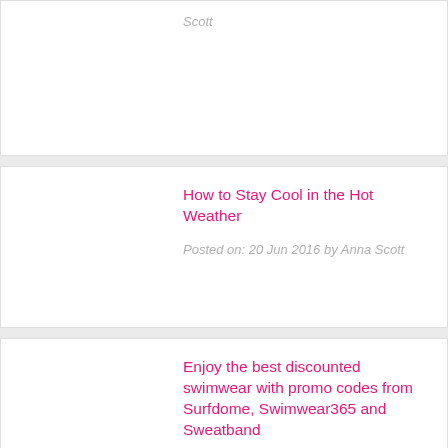Scott
How to Stay Cool in the Hot Weather
Posted on: 20 Jun 2016 by Anna Scott
Enjoy the best discounted swimwear with promo codes from Surfdome, Swimwear365 and Sweatband
Posted on: 17 Jun 2016 by Anna Scott